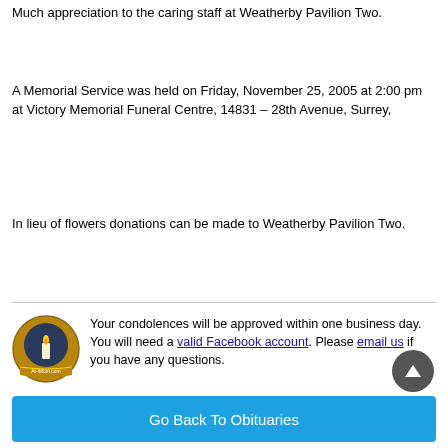Much appreciation to the caring staff at Weatherby Pavilion Two.
A Memorial Service was held on Friday, November 25, 2005 at 2:00 pm at Victory Memorial Funeral Centre, 14831 – 28th Avenue, Surrey,
In lieu of flowers donations can be made to Weatherby Pavilion Two.
[Figure (other): At-iMom.com logo badge with candle icon]
Your condolences will be approved within one business day. You will need a valid Facebook account. Please email us if you have any questions.
Go Back To Obituaries